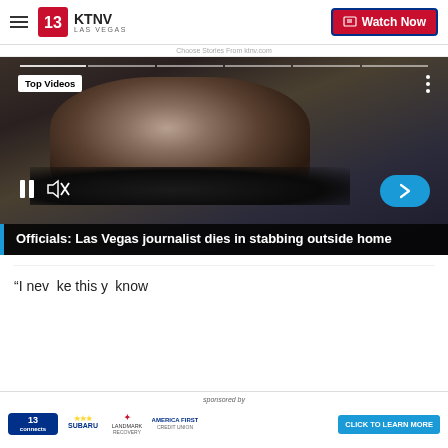KTNV LAS VEGAS | Watch Now
[Figure (screenshot): Video player showing a man in a suit and tie being interviewed outdoors at night. Shows progress bar at top, 'Top Videos' label, pause and mute controls, and a next arrow button. A headline overlay reads: Officials: Las Vegas journalist dies in stabbing outside home]
Officials: Las Vegas journalist dies in stabbing outside home
“I nev…ke this y…know
[Figure (infographic): Sponsored by banner advertisement with logos: 13 connects, Subaru, Landmark Recovery, America First. Click to Learn More button on right.]